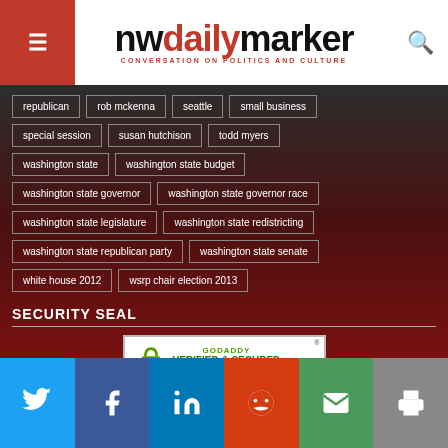nwdailymarker - CONVERSATION ON POLITICS AND CULTURE
republican
rob mckenna
seattle
small business
special session
susan hutchison
todd myers
washington state
washington state budget
washington state governor
washington state governor race
washington state legislature
washington state redistricting
washington state republican party
washington state senate
white house 2012
wsrp chair election 2013
SECURITY SEAL
[Figure (logo): GoDaddy Verified & Secured security badge]
Twitter | Facebook | LinkedIn | Reddit | Email | Print social sharing buttons